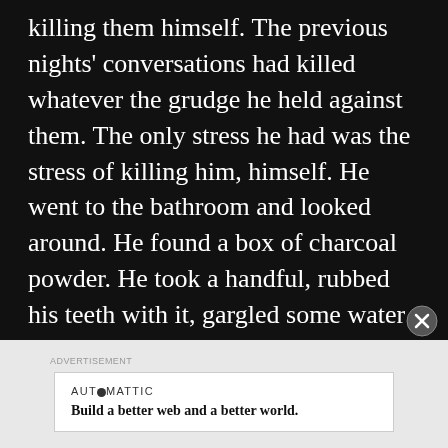killing them himself. The previous nights' conversations had killed whatever the grudge he held against them. The only stress he had was the stress of killing him, himself. He went to the bathroom and looked around. He found a box of charcoal powder. He took a handful, rubbed his teeth with it, gargled some water and headed out. He was shocked to see a heap of dead bodies on the ground. He walked in utter shock and everywhere he saw there bodies lying. The entire village has been turned into a graveyard!
AUTOMATTIC
Build a better web and a better world.